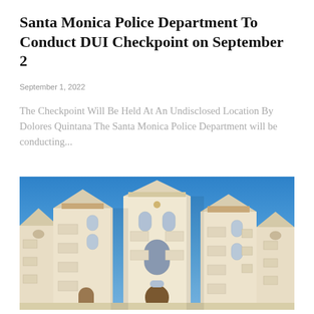Santa Monica Police Department To Conduct DUI Checkpoint on September 2
September 1, 2022
The Checkpoint Will Be Held At An Undisclosed Location By Dolores Quintana The Santa Monica Police Department will be conducting...
[Figure (photo): Photograph of Spanish/Mediterranean-style multi-story apartment buildings with white stucco facades, arched windows, balconies, and terracotta roof tiles against a clear blue sky]